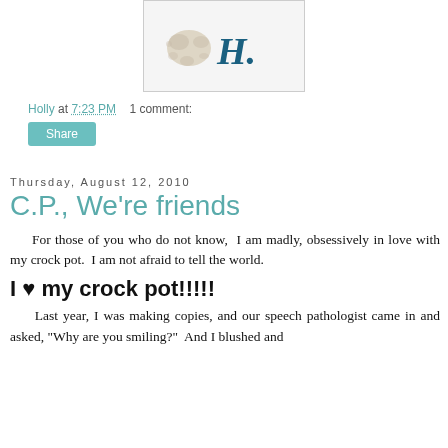[Figure (illustration): A signature image showing a light brown ink blot/splatter on the left and a stylized blue-teal handwritten 'H.' signature on the right, on a light gray background.]
Holly at 7:23 PM   1 comment:
Share
Thursday, August 12, 2010
C.P., We're friends
For those of you who do not know,  I am madly, obsessively in love with my crock pot.  I am not afraid to tell the world.
I ♥ my crock pot!!!!!
Last year, I was making copies, and our speech pathologist came in and asked, "Why are you smiling?"  And I blushed and